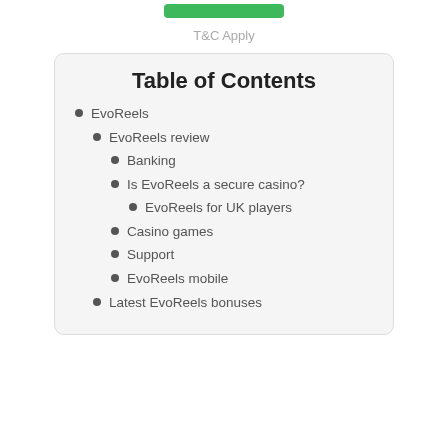T&C Apply
Table of Contents
EvoReels
EvoReels review
Banking
Is EvoReels a secure casino?
EvoReels for UK players
Casino games
Support
EvoReels mobile
Latest EvoReels bonuses